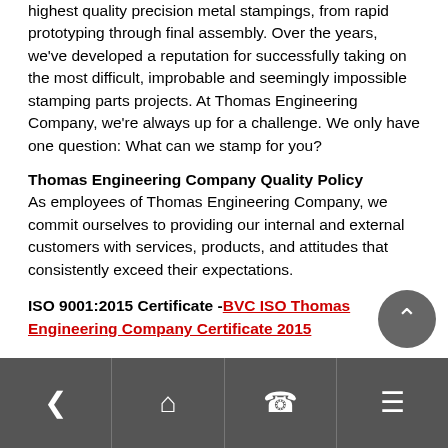highest quality precision metal stampings, from rapid prototyping through final assembly. Over the years, we've developed a reputation for successfully taking on the most difficult, improbable and seemingly impossible stamping parts projects. At Thomas Engineering Company, we're always up for a challenge. We only have one question: What can we stamp for you?
Thomas Engineering Company Quality Policy
As employees of Thomas Engineering Company, we commit ourselves to providing our internal and external customers with services, products, and attitudes that consistently exceed their expectations.
ISO 9001:2015 Certificate - BVC ISO Thomas Engineering Company Certificate 2015
Stamp | Ability
Definition: The ability to manufacture high-quality parts to your specifications and deliver them on time and within budget. It's what sets Thomas Engineering Company apart from other metal